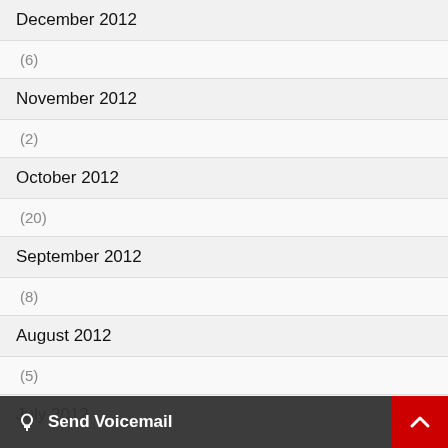December 2012
(6)
November 2012
(2)
October 2012
(20)
September 2012
(8)
August 2012
(5)
July 2012
(9)
Send Voicemail